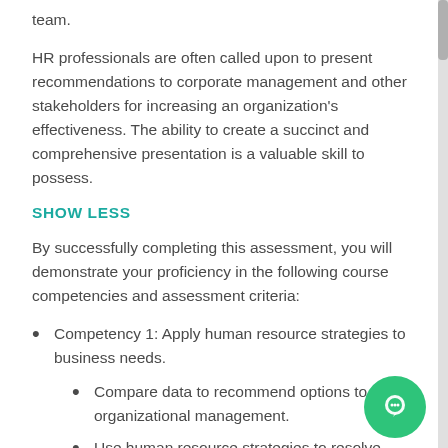team.
HR professionals are often called upon to present recommendations to corporate management and other stakeholders for increasing an organization's effectiveness. The ability to create a succinct and comprehensive presentation is a valuable skill to possess.
SHOW LESS
By successfully completing this assessment, you will demonstrate your proficiency in the following course competencies and assessment criteria:
Competency 1: Apply human resource strategies to business needs.
Compare data to recommend options to organizational management.
Use human resource strategies to resolve